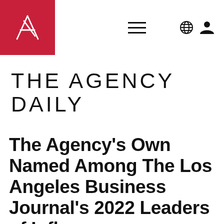[Figure (logo): The Agency logo: white letter A on red square background]
THE AGENCY DAILY
The Agency's Own Named Among The Los Angeles Business Journal's 2022 Leaders of Influence…